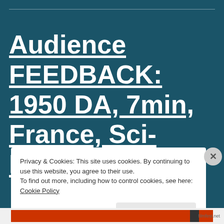Audience FEEDBACK: 1950 DA, 7min, France, Sci-Fi/Fantasy
Privacy & Cookies: This site uses cookies. By continuing to use this website, you agree to their use.
To find out more, including how to control cookies, see here: Cookie Policy
Close and accept